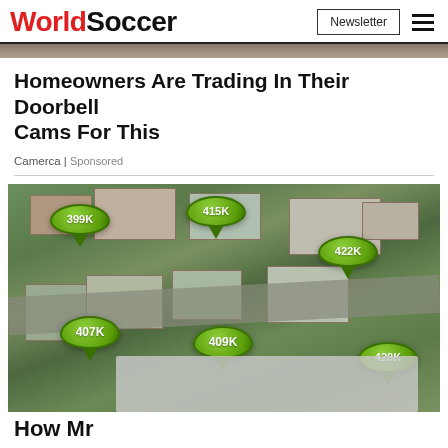WorldSoccer | Newsletter
Homeowners Are Trading In Their Doorbell Cams For This
Camerca | Sponsored
[Figure (photo): Aerial view of a suburban neighborhood with green map pin markers showing home prices: 399K, 415K, 422K, 407K, 409K, 428K]
How M... r